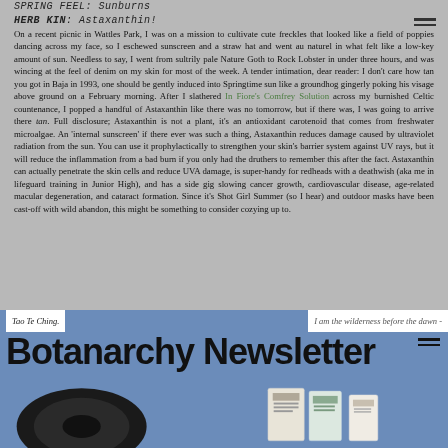SPRING FEEL: Sunburns
HERB KIN: Astaxanthin!
On a recent picnic in Wattles Park, I was on a mission to cultivate cute freckles that looked like a field of poppies dancing across my face, so I eschewed sunscreen and a straw hat and went au naturel in what felt like a low-key amount of sun. Needless to say, I went from sultrily pale Nature Goth to Rock Lobster in under three hours, and was wincing at the feel of denim on my skin for most of the week. A tender intimation, dear reader: I don't care how tan you got in Baja in 1993, one should be gently induced into Springtime sun like a groundhog gingerly poking his visage above ground on a February morning. After I slathered In Fiore's Comfrey Solution across my burnished Celtic countenance, I popped a handful of Astaxanthin like there was no tomorrow, but if there was, I was going to arrive there tan. Full disclosure; Astaxanthin is not a plant, it's an antioxidant carotenoid that comes from freshwater microalgae. An 'internal sunscreen' if there ever was such a thing, Astaxanthin reduces damage caused by ultraviolet radiation from the sun. You can use it prophylactically to strengthen your skin's barrier system against UV rays, but it will reduce the inflammation from a bad burn if you only had the druthers to remember this after the fact. Astaxanthin can actually penetrate the skin cells and reduce UVA damage, is super-handy for redheads with a deathwish (aka me in lifeguard training in Junior High), and has a side gig slowing cancer growth, cardiovascular disease, age-related macular degeneration, and cataract formation. Since it's Shot Girl Summer (so I hear) and outdoor masks have been cast-off with wild abandon, this might be something to consider cozying up to.
Tao Te Ching.    I am the wilderness before the dawn -
Botanarchy Newsletter